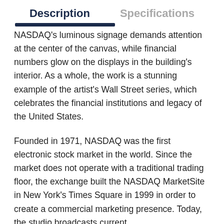Description   Specifications
NASDAQ's luminous signage demands attention at the center of the canvas, while financial numbers glow on the displays in the building's interior. As a whole, the work is a stunning example of the artist's Wall Street series, which celebrates the financial institutions and legacy of the United States.
Founded in 1971, NASDAQ was the first electronic stock market in the world. Since the market does not operate with a traditional trading floor, the exchange built the NASDAQ MarketSite in New York's Times Square in 1999 in order to create a commercial marketing presence. Today, the studio broadcasts current